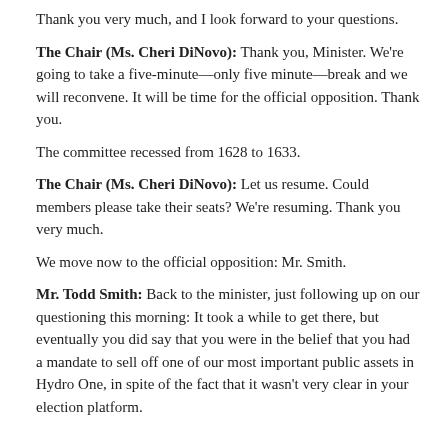Thank you very much, and I look forward to your questions.
The Chair (Ms. Cheri DiNovo): Thank you, Minister. We're going to take a five-minute—only five minute—break and we will reconvene. It will be time for the official opposition. Thank you.
The committee recessed from 1628 to 1633.
The Chair (Ms. Cheri DiNovo): Let us resume. Could members please take their seats? We're resuming. Thank you very much.
We move now to the official opposition: Mr. Smith.
Mr. Todd Smith: Back to the minister, just following up on our questioning this morning: It took a while to get there, but eventually you did say that you were in the belief that you had a mandate to sell off one of our most important public assets in Hydro One, in spite of the fact that it wasn't very clear in your election platform.